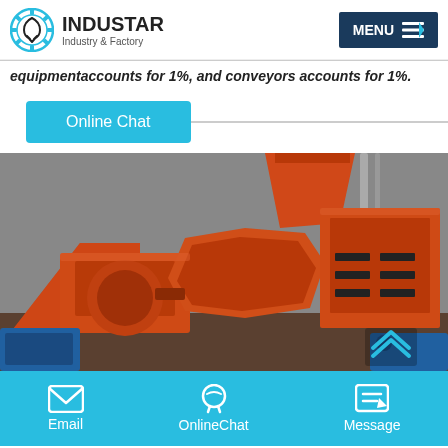INDUSTAR — Industry & Factory
equipmentaccounts for 1%, and conveyors accounts for 1%.
Online Chat
[Figure (photo): Orange industrial machinery (hammer mills / briquette presses) inside a factory building. Multiple large orange-painted metal machines are visible, with blue electric motors at the sides.]
Email | OnlineChat | Message